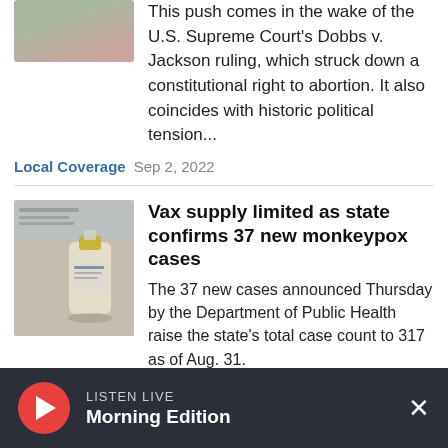This push comes in the wake of the U.S. Supreme Court's Dobbs v. Jackson ruling, which struck down a constitutional right to abortion. It also coincides with historic political tension...
Local Coverage  Sep 2, 2022
Vax supply limited as state confirms 37 new monkeypox cases
The 37 new cases announced Thursday by the Department of Public Health raise the state's total case count to 317 as of Aug. 31.
Health  Sep 2, 2022
LISTEN LIVE  Morning Edition